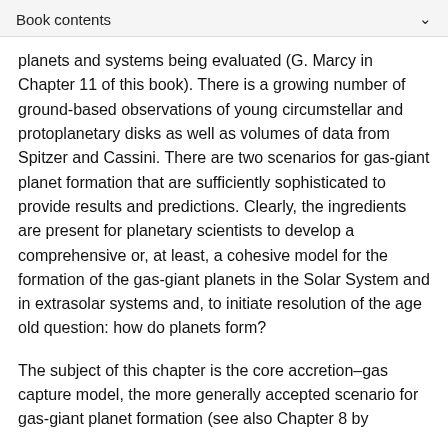Book contents
planets and systems being evaluated (G. Marcy in Chapter 11 of this book). There is a growing number of ground-based observations of young circumstellar and protoplanetary disks as well as volumes of data from Spitzer and Cassini. There are two scenarios for gas-giant planet formation that are sufficiently sophisticated to provide results and predictions. Clearly, the ingredients are present for planetary scientists to develop a comprehensive or, at least, a cohesive model for the formation of the gas-giant planets in the Solar System and in extrasolar systems and, to initiate resolution of the age old question: how do planets form?
The subject of this chapter is the core accretion–gas capture model, the more generally accepted scenario for gas-giant planet formation (see also Chapter 8 by